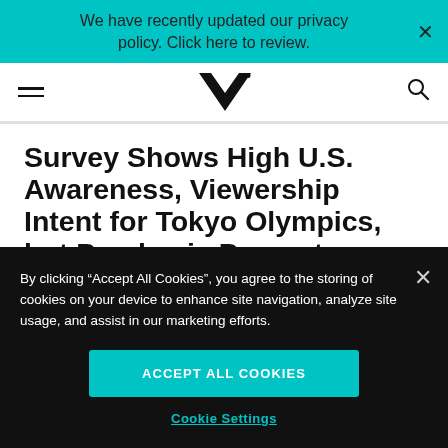We have recently updated our privacy policy. Click here to review.
[Figure (logo): Morning Consult logo - stylized M/V chevron mark with registered trademark]
Survey Shows High U.S. Awareness, Viewership Intent for Tokyo Olympics, but Pandemic Presents
By clicking “Accept All Cookies”, you agree to the storing of cookies on your device to enhance site navigation, analyze site usage, and assist in our marketing efforts.
Accept All Cookies
Cookie Settings